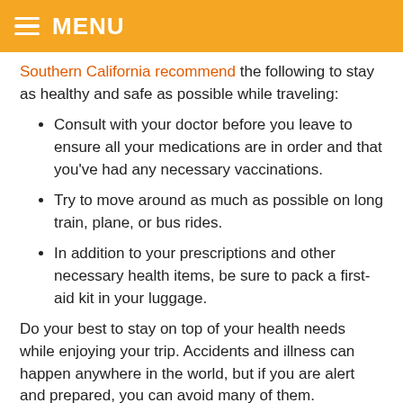MENU
Southern California recommend the following to stay as healthy and safe as possible while traveling:
Consult with your doctor before you leave to ensure all your medications are in order and that you've had any necessary vaccinations.
Try to move around as much as possible on long train, plane, or bus rides.
In addition to your prescriptions and other necessary health items, be sure to pack a first-aid kit in your luggage.
Do your best to stay on top of your health needs while enjoying your trip. Accidents and illness can happen anywhere in the world, but if you are alert and prepared, you can avoid many of them.